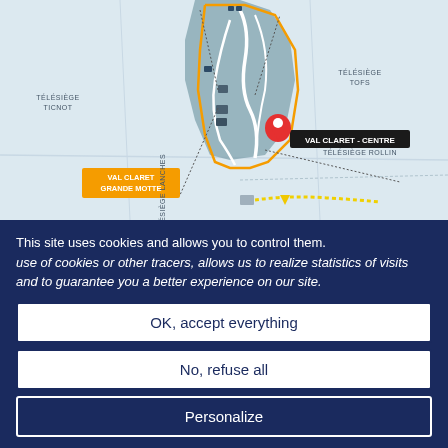[Figure (map): Ski resort map showing Val Claret area with ski lifts (Télésiège Ticnot, Télésiège Tofs, Télésiège Rollin, Télésiège Lanches), orange outlined ski area boundary, white ski runs, a red location pin marker labeled 'VAL CLARET - CENTRE', and an orange label 'VAL CLARET GRANDE MOTTE'. Yellow dotted path visible at bottom center.]
This site uses cookies and allows you to control them. use of cookies or other tracers, allows us to realize statistics of visits and to guarantee you a better experience on our site.
OK, accept everything
No, refuse all
Personalize